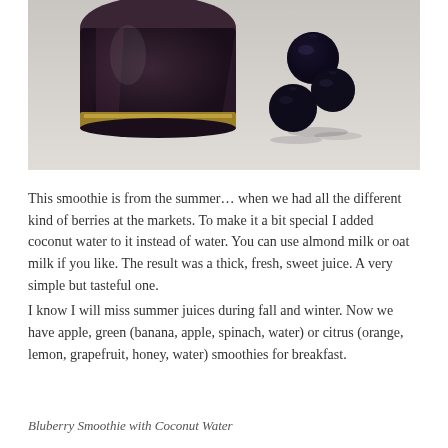[Figure (photo): Photo of a dark purple/blueberry smoothie in a glass jar with three fresh blueberries resting on a light surface beside it. Watermark reads '© Zizi Kauf­najan' in top right corner.]
This smoothie is from the summer… when we had all the different kind of berries at the markets. To make it a bit special I added coconut water to it instead of water. You can use almond milk or oat milk if you like. The result was a thick, fresh, sweet juice. A very simple but tasteful one.
I know I will miss summer juices during fall and winter. Now we have apple, green (banana, apple, spinach, water) or citrus (orange, lemon, grapefruit, honey, water) smoothies for breakfast.
Bluberry Smoothie with Coconut Water